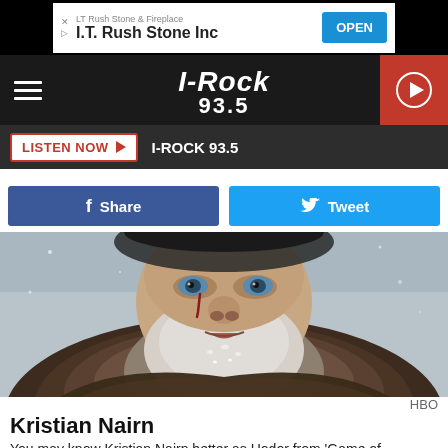[Figure (screenshot): Advertisement banner for LT Rush Stone & Fireplace / I.T. Rush Stone Inc with an OPEN button]
I-ROCK 93.5 navigation bar with hamburger menu and play button
LISTEN NOW ▶  I-ROCK 93.5
[Figure (screenshot): Facebook Share button and Twitter Tweet button]
[Figure (photo): Photo of Kristian Nairn as Hodor from Game of Thrones, bearded man in winter fur coat in snowy setting with blood on cheek]
HBO
Kristian Nairn
You may know Kristian Nairn better as Hodor from 'Game of